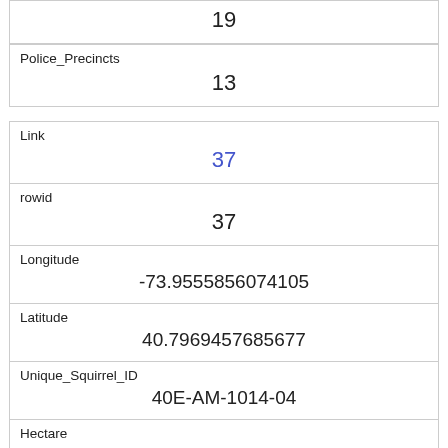| Field | Value |
| --- | --- |
| Police_Precincts | 13 |
| Link | 37 |
| rowid | 37 |
| Longitude | -73.9555856074105 |
| Latitude | 40.7969457685677 |
| Unique_Squirrel_ID | 40E-AM-1014-04 |
| Hectare | 40E |
| Shift | AM |
| Date | 1014 |
| Hectare_Squirrel_Number |  |